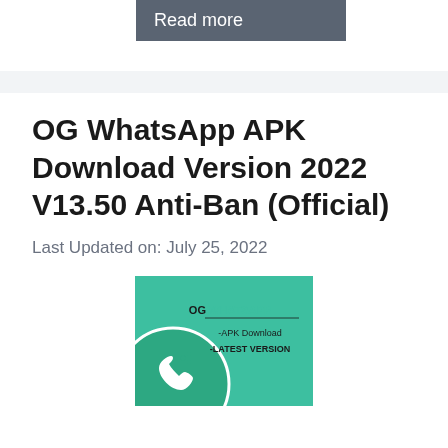Read more
OG WhatsApp APK Download Version 2022 V13.50 Anti-Ban (Official)
Last Updated on: July 25, 2022
[Figure (illustration): OG WhatsApp APK promotional image on teal/green background with phone icon in white circle and text 'OG WHATSAPP -APK Download -LATEST VERSION']